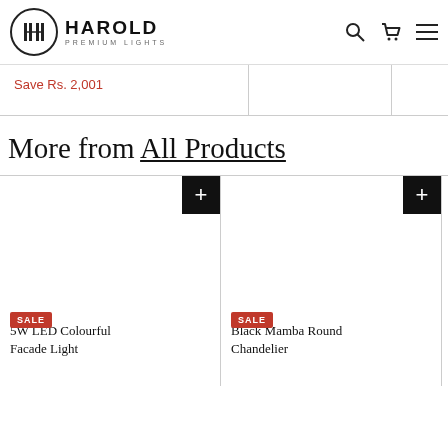[Figure (logo): Harold Premium Lights logo with circular emblem and brand name]
Save Rs. 2,001
More from All Products
[Figure (other): Product card: 5W LED Colourful Facade Light, SALE badge, + add button]
[Figure (other): Product card: Black Mamba Round Chandelier, SALE badge, + add button]
[Figure (other): Product card: Amber Chandelier (truncated), SALE badge]